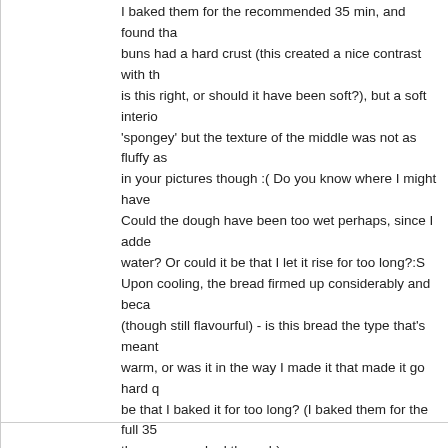I baked them for the recommended 35 min, and found that the buns had a hard crust (this created a nice contrast with the is this right, or should it have been soft?), but a soft interior 'spongey' but the texture of the middle was not as fluffy as in your pictures though :( Do you know where I might have Could the dough have been too wet perhaps, since I added water? Or could it be that I let it rise for too long?:S Upon cooling, the bread firmed up considerably and became (though still flavourful) - is this bread the type that's meant warm, or was it in the way I made it that made it go hard quite be that I baked it for too long? (I baked them for the full 35 they were cooked through)
Also, I noticed that you replaced the butter with olive oil - s much change in texture if I try it with the butter next time? decreased qty of cream cheese and onion compared with it be too cheesey and oniony if we follow the original qty?)
Thanks again for posting this recipe and for the bun idea!
August 16, 2007 at 11:07 AM